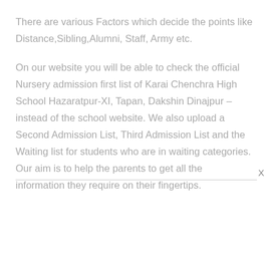There are various Factors which decide the points like Distance,Sibling,Alumni, Staff, Army etc.
On our website you will be able to check the official Nursery admission first list of Karai Chenchra High School Hazaratpur-XI, Tapan, Dakshin Dinajpur – instead of the school website. We also upload a Second Admission List, Third Admission List and the Waiting list for students who are in waiting categories. Our aim is to help the parents to get all the information they require on their fingertips.